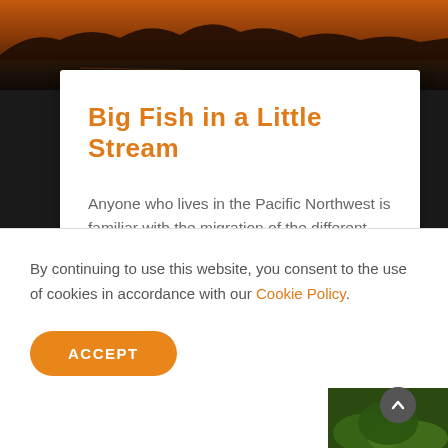[Figure (photo): Dark landscape/nature photo at the top of the page, showing a silhouetted scene with orange/brown tones, likely a river or coastal scene at dusk or dawn.]
Big Fish in a Little Stream
Anyone who lives in the Pacific Northwest is familiar with the migration of the different species of Salmon. What did surprise me recently was the the size of the water these amazing fish are willing to attempt swimming up to breed. My childhood handmade sailboat wouldn't float in the amount of
By continuing to use this website, you consent to the use of cookies in accordance with our Cookie Policy.
ACCEPT